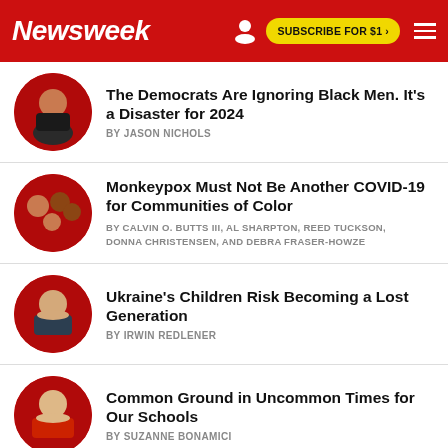Newsweek | SUBSCRIBE FOR $1 >
The Democrats Are Ignoring Black Men. It's a Disaster for 2024
BY JASON NICHOLS
Monkeypox Must Not Be Another COVID-19 for Communities of Color
BY CALVIN O. BUTTS III, AL SHARPTON, REED TUCKSON, DONNA CHRISTENSEN, AND DEBRA FRASER-HOWZE
Ukraine's Children Risk Becoming a Lost Generation
BY IRWIN REDLENER
Common Ground in Uncommon Times for Our Schools
BY SUZANNE BONAMICI
Xi Enters Final Stretch Ahead of Precedent-Breaking Third Term